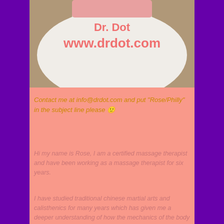[Figure (photo): Photo of a white t-shirt with pink text showing 'www.drdot.com' worn by a person]
Contact me at info@drdot.com and put "Rose/Philly" in the subject line please 🙂
Hi my name is Rose, I am a certified massage therapist and have been working as a massage therapist for six years.
I have studied traditional chinese martial arts and calisthenics for many years which has given me a deeper understanding of how the mechanics of the body work, allowing me to